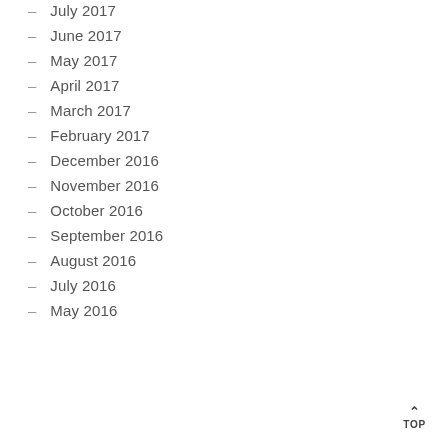July 2017
June 2017
May 2017
April 2017
March 2017
February 2017
December 2016
November 2016
October 2016
September 2016
August 2016
July 2016
May 2016